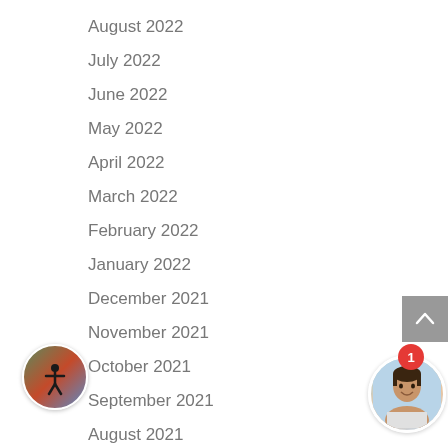August 2022
July 2022
June 2022
May 2022
April 2022
March 2022
February 2022
January 2022
December 2021
November 2021
October 2021
September 2021
August 2021
July 2021
June 2021
May 2021
[Figure (illustration): Back-to-top arrow button (gray square with upward chevron)]
[Figure (illustration): Accessibility icon: circular badge with person figure silhouette on gradient background]
[Figure (photo): Profile avatar photo of a person with notification badge showing 1]